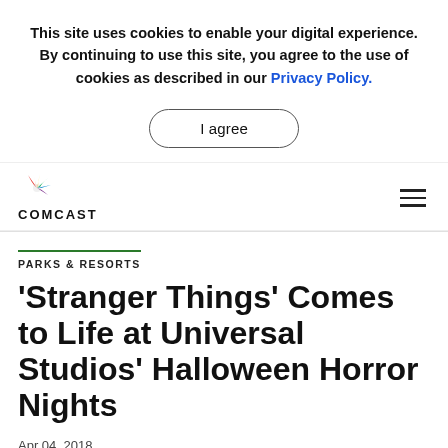This site uses cookies to enable your digital experience. By continuing to use this site, you agree to the use of cookies as described in our Privacy Policy.
I agree
[Figure (logo): NBC Peacock logo above COMCAST text]
PARKS & RESORTS
'Stranger Things' Comes to Life at Universal Studios' Halloween Horror Nights
Apr 04, 2018